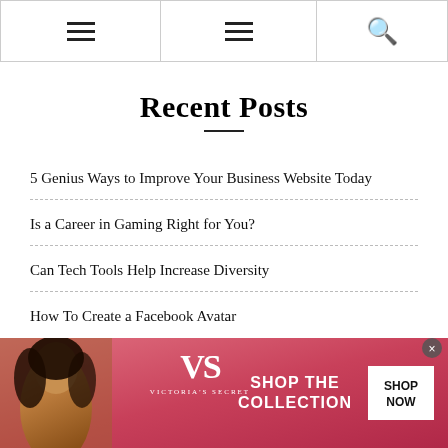Navigation header with hamburger menus and search icon
Recent Posts
5 Genius Ways to Improve Your Business Website Today
Is a Career in Gaming Right for You?
Can Tech Tools Help Increase Diversity
How To Create a Facebook Avatar
[Figure (advertisement): Victoria's Secret advertisement banner with pink/red gradient background, model photo, VS logo, 'SHOP THE COLLECTION' text, and 'SHOP NOW' button]